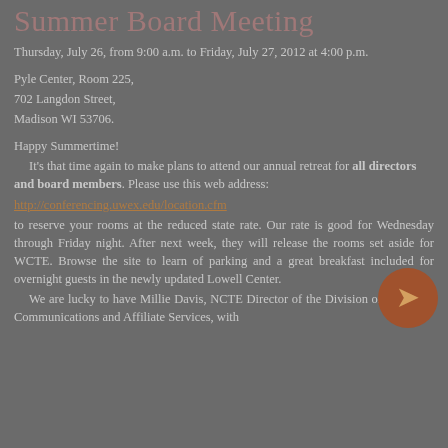Summer Board Meeting
Thursday, July 26, from 9:00 a.m. to Friday, July 27, 2012 at 4:00 p.m.
Pyle Center, Room 225,
702 Langdon Street,
Madison WI 53706.
Happy Summertime!
  It's that time again to make plans to attend our annual retreat for all directors and board members. Please use this web address:
http://conferencing.uwex.edu/location.cfm
to reserve your rooms at the reduced state rate. Our rate is good for Wednesday through Friday night. After next week, they will release the rooms set aside for WCTE. Browse the site to learn of parking and a great breakfast included for overnight guests in the newly updated Lowell Center.
  We are lucky to have Millie Davis, NCTE Director of the Division of Communications and Affiliate Services, with